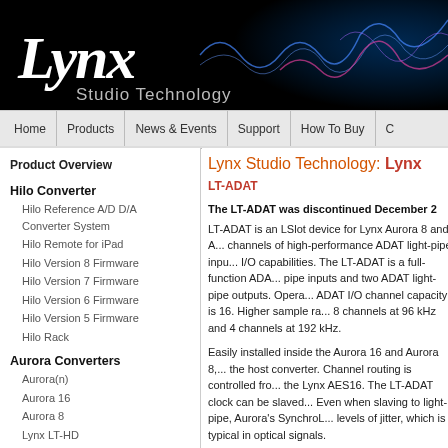[Figure (logo): Lynx Studio Technology logo and header banner with blue waveform background on black]
Home | Products | News & Events | Support | How To Buy | C
Product Overview
Hilo Converter
Hilo Reference A/D D/A Converter System
Hilo Remote for iPad
Hilo Version 8 Firmware
Hilo Version 7 Firmware
Hilo Version 6 Firmware
Hilo Version 5 Firmware
Hilo Rack
Aurora Converters
Aurora(n)
Aurora 16
Aurora 8
Lynx LT-HD
Lynx LT-USB
Lynx LT-TB Thunderbolt
Lynx LT-DANTE
Aurora Vented Panel
Lynx Studio Technology: Lynx
LT-ADAT
The LT-ADAT was discontinued December 2...
LT-ADAT is an LSlot device for Lynx Aurora 8 and A... channels of high-performance ADAT light-pipe inpu... I/O capabilities. The LT-ADAT is a full-function ADA... pipe inputs and two ADAT light-pipe outputs. Opera... ADAT I/O channel capacity is 16. Higher sample ra... 8 channels at 96 kHz and 4 channels at 192 kHz.
Easily installed inside the Aurora 16 and Aurora 8,... the host converter. Channel routing is controlled fro... the Lynx AES16. The LT-ADAT clock can be slaved... Even when slaving to light-pipe, Aurora's SynchroL... levels of jitter, which is typical in optical signals.
LT-ADAT also allows for custom frame timing and bi...